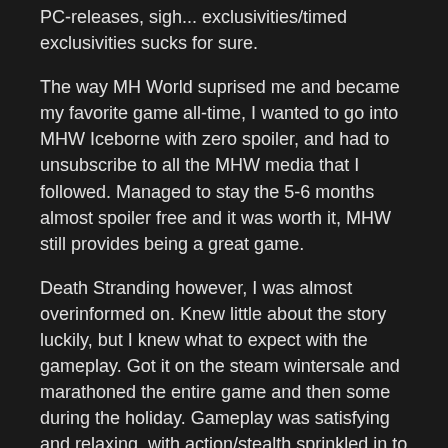PC-releases, sigh... exclusivities/timed exclusivities sucks for sure.
The way MH World suprised me and became my favorite game all-time, I wanted to go into MHW Iceborne with zero spoiler, and had to unsubscribe to all the MHW media that I followed. Managed to stay the 5-6 months almost spoiler free and it was worth it, MHW still provides being a great game.
Death Stranding however, I was almost overinformed on. Knew little about the story luckily, but I knew what to expect with the gameplay. Got it on the steam wintersale and marathoned the entire game and then some during the holiday. Gameplay was satisfying and relaxing, with action/stealth sprinkled in to enforce your planning and resources(did the right thing to play on hardest difficulty from the get-go) and every play-session left me wierdly exhausted, but contempt and happy. Yeah, the story is a shitshow, some of the dialogue is awkward but it pulls thru and kept my interest to the end.